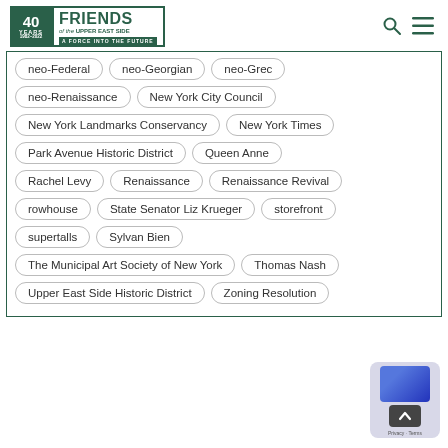[Figure (logo): Friends of the Upper East Side logo with 40 Years 1982-2022 badge in green and white]
neo-Federal
neo-Georgian
neo-Grec
neo-Renaissance
New York City Council
New York Landmarks Conservancy
New York Times
Park Avenue Historic District
Queen Anne
Rachel Levy
Renaissance
Renaissance Revival
rowhouse
State Senator Liz Krueger
storefront
supertalls
Sylvan Bien
The Municipal Art Society of New York
Thomas Nash
Upper East Side Historic District
Zoning Resolution
Privacy · Terms